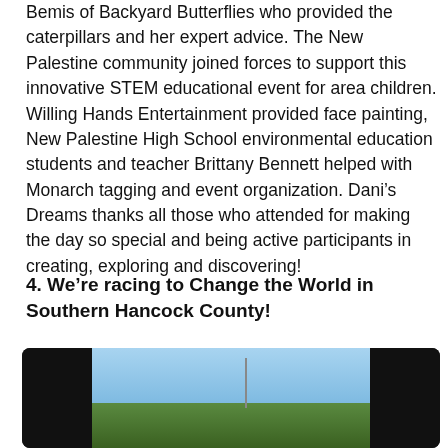Bemis of Backyard Butterflies who provided the caterpillars and her expert advice. The New Palestine community joined forces to support this innovative STEM educational event for area children. Willing Hands Entertainment provided face painting, New Palestine High School environmental education students and teacher Brittany Bennett helped with Monarch tagging and event organization. Dani's Dreams thanks all those who attended for making the day so special and being active participants in creating, exploring and discovering!
4. We're racing to Change the World in Southern Hancock County!
[Figure (photo): A photo showing an outdoor scene with sky and vegetation, displayed inside a dark/black bordered frame resembling a laptop or video player.]